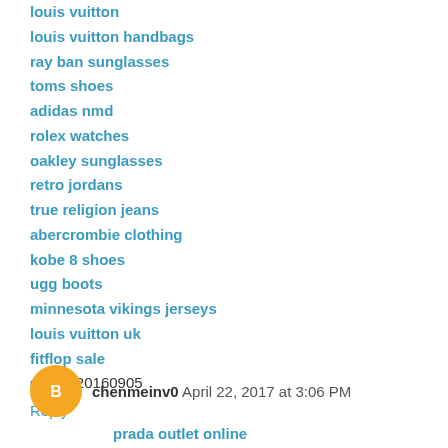louis vuitton
louis vuitton handbags
ray ban sunglasses
toms shoes
adidas nmd
rolex watches
oakley sunglasses
retro jordans
true religion jeans
abercrombie clothing
kobe 8 shoes
ugg boots
minnesota vikings jerseys
louis vuitton uk
fitflop sale
chenlili20160905
Reply
chenmeinv0  April 22, 2017 at 3:06 PM
prada outlet online
true religion jeans